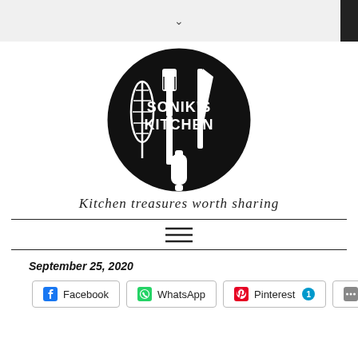[Figure (logo): Sonik's Kitchen circular logo with kitchen utensils (whisk, spatula, knife, rolling pin) on black background with text SONIK'S KITCHEN]
Kitchen treasures worth sharing
September 25, 2020
[Figure (infographic): Social share buttons: Facebook, WhatsApp, Pinterest (with badge 1), More]